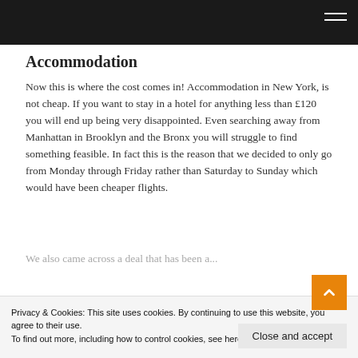Accommodation
Now this is where the cost comes in! Accommodation in New York, is not cheap. If you want to stay in a hotel for anything less than £120 you will end up being very disappointed. Even searching away from Manhattan in Brooklyn and the Bronx you will struggle to find something feasible. In fact this is the reason that we decided to only go from Monday through Friday rather than Saturday to Sunday which would have been cheaper flights.
Privacy & Cookies: This site uses cookies. By continuing to use this website, you agree to their use.
To find out more, including how to control cookies, see here: Cookie Policy